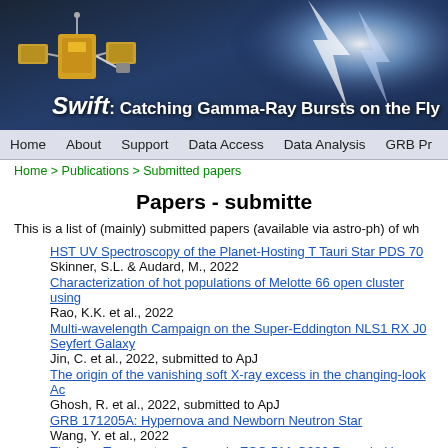[Figure (photo): Swift: Catching Gamma-Ray Bursts on the Fly banner with satellite image and lightning/energy background]
Home  About  Support  Data Access  Data Analysis  GRB Pr...
Home > Publications > Submitted papers
Papers - submitted
This is a list of (mainly) submitted papers (available via astro-ph) of wh...
HST UV Spectroscopy of the Planet-Hosting T Tauri Star PDS 70
Skinner, S.L. & Audard, M., 2022
Characterization of hot populations of Melotte 66 open cluster using...
Rao, K.K. et al., 2022
Multi-wavelength Campaign on the Super-Eddington NLS1 RX J0... Seyfert Galaxy
Jin, C. et al., 2022, submitted to ApJ
The origin of the vanishing soft X-ray excess in the changing-look Ac...
Ghosh, R. et al., 2022, submitted to ApJ
GRB 171205A: Hypernova and Newborn Neutron Star
Wang, Y. et al., 2022
The Low Temperature Corona in ESO 511-G030 Revealed by NuST...
Zhang, Z. et al., 2022